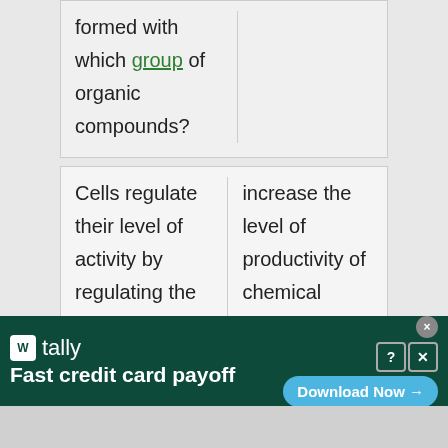| Question (partial) | Answer (partial) |
| --- | --- |
| formed with which group of organic compounds? |  |
| Question | Answer |
| --- | --- |
| Cells regulate their level of activity by regulating the amount of proteins present in the cell at any given time, so an up [reg]ulation of enzymes | increase the level of productivity of chemical reactions that rely on them. |
[Figure (screenshot): Advertisement banner for Tally app - Fast credit card payoff with Download Now button]